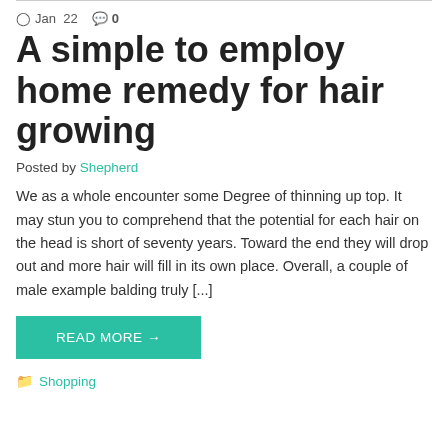Jan  22   0
A simple to employ home remedy for hair growing
Posted by Shepherd
We as a whole encounter some Degree of thinning up top. It may stun you to comprehend that the potential for each hair on the head is short of seventy years. Toward the end they will drop out and more hair will fill in its own place. Overall, a couple of male example balding truly [...]
READ MORE →
Shopping